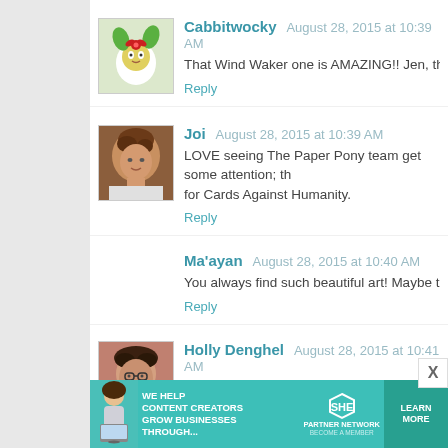Cabbitwocky  August 28, 2015 at 10:39 AM
That Wind Waker one is AMAZING!! Jen, thank you so muc
Reply
Joi  August 28, 2015 at 10:39 AM
LOVE seeing The Paper Pony team get some attention; th
for Cards Against Humanity.
Reply
Ma'ayan  August 28, 2015 at 10:40 AM
You always find such beautiful art! Maybe this month I'll be
Reply
Holly Denghel  August 28, 2015 at 10:41 AM
I've already won, and won the thing I'd been lusting after f
say that the Inked Belle is awesome and John needs t
[Figure (infographic): SHE media partner network advertisement banner: teal background, woman with laptop, text 'We help content creators grow businesses through...' and 'SHE Partner Network Become a Member' with 'Learn More' button]